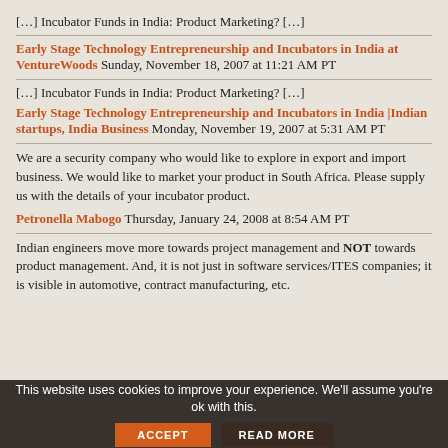[…] Incubator Funds in India: Product Marketing? […]
Early Stage Technology Entrepreneurship and Incubators in India at VentureWoods Sunday, November 18, 2007 at 11:21 AM PT
[…] Incubator Funds in India: Product Marketing? […]
Early Stage Technology Entrepreneurship and Incubators in India |Indian startups, India Business Monday, November 19, 2007 at 5:31 AM PT
We are a security company who would like to explore in export and import business. We would like to market your product in South Africa. Please supply us with the details of your incubator product.
Petronella Mabogo Thursday, January 24, 2008 at 8:54 AM PT
Indian engineers move more towards project management and NOT towards product management. And, it is not just in software services/ITES companies; it is visible in automotive, contract manufacturing, etc.
This website uses cookies to improve your experience. We'll assume you're ok with this.